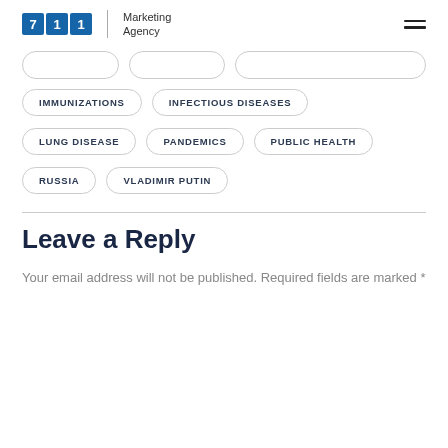711 Marketing Agency
IMMUNIZATIONS
INFECTIOUS DISEASES
LUNG DISEASE
PANDEMICS
PUBLIC HEALTH
RUSSIA
VLADIMIR PUTIN
Leave a Reply
Your email address will not be published. Required fields are marked *